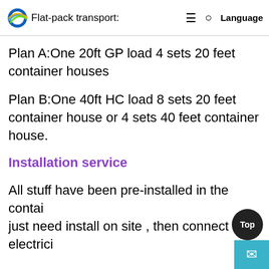Flat-pack transport:
Plan A:One 20ft GP load 4 sets 20 feet container houses
Plan B:One 40ft HC load 8 sets 20 feet container house or 4 sets 40 feet container house.
Installation service
All stuff have been pre-installed in the contain just need install on site , then connect to electrici